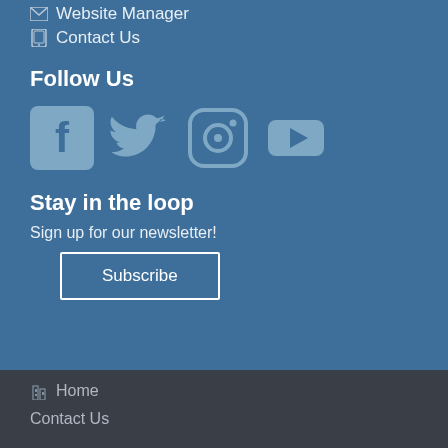✉ Website Manager
☎ Contact Us
Follow Us
[Figure (illustration): Social media icons: Facebook, Twitter, Instagram, YouTube]
Stay in the loop
Sign up for our newsletter!
Subscribe
🏢 Home
Contact Us